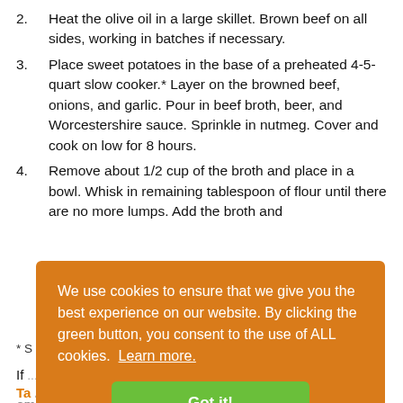2. Heat the olive oil in a large skillet. Brown beef on all sides, working in batches if necessary.
3. Place sweet potatoes in the base of a preheated 4-5-quart slow cooker.* Layer on the browned beef, onions, and garlic. Pour in beef broth, beer, and Worcestershire sauce. Sprinkle in nutmeg. Cover and cook on low for 8 hours.
4. Remove about 1/2 cup of the broth and place in a bowl. Whisk in remaining tablespoon of flour until there are no more lumps. Add the broth and
* S...
If ...
Ta...
email updates so you don't miss a thing!
We use cookies to ensure that we give you the best experience on our website. By clicking the green button, you consent to the use of ALL cookies. Learn more.